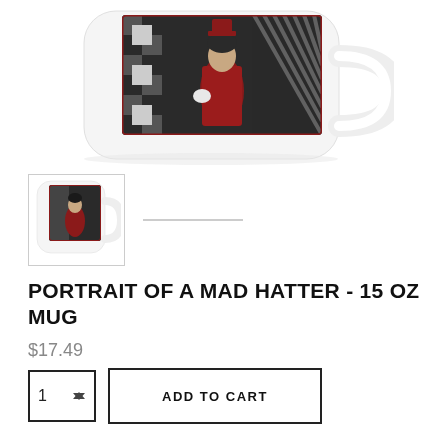[Figure (photo): A white ceramic 15 oz mug with a portrait artwork printed on it depicting a Mad Hatter character in red and black costume with harlequin background pattern. The mug handle is visible on the right side.]
[Figure (photo): Thumbnail image of the same white mug with the Mad Hatter portrait, shown at smaller scale with border.]
PORTRAIT OF A MAD HATTER - 15 OZ MUG
$17.49
1  ADD TO CART